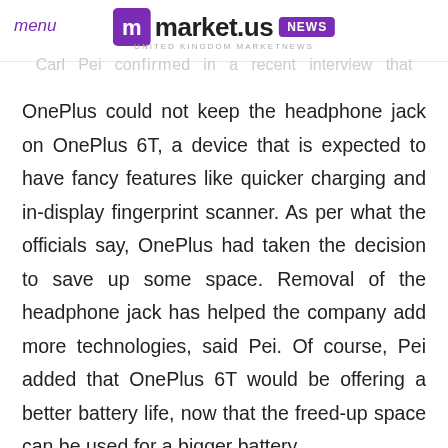menu | market.us NEWS
Carl Pei confirmed in a recent interview that OnePlus could not keep the headphone jack on OnePlus 6T, a device that is expected to have fancy features like quicker charging and in-display fingerprint scanner. As per what the officials say, OnePlus had taken the decision to save up some space. Removal of the headphone jack has helped the company add more technologies, said Pei. Of course, Pei added that OnePlus 6T would be offering a better battery life, now that the freed-up space can be used for a bigger battery.
However, this means that those who purchase OnePlus 6T will have at least three options. First,